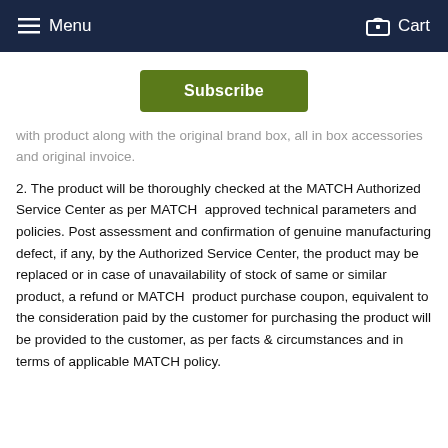Menu  Cart
[Figure (other): Green Subscribe button]
with product along with the original brand box, all in box accessories and original invoice.
2. The product will be thoroughly checked at the MATCH Authorized Service Center as per MATCH approved technical parameters and policies. Post assessment and confirmation of genuine manufacturing defect, if any, by the Authorized Service Center, the product may be replaced or in case of unavailability of stock of same or similar product, a refund or MATCH product purchase coupon, equivalent to the consideration paid by the customer for purchasing the product will be provided to the customer, as per facts & circumstances and in terms of applicable MATCH policy.